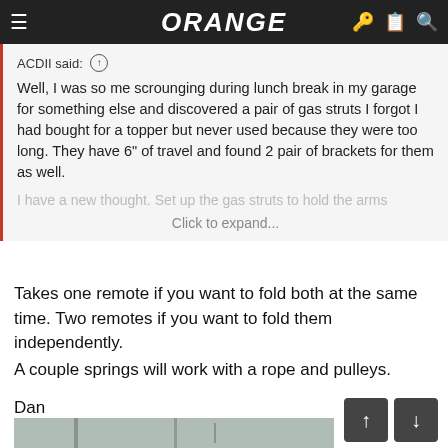ORANGE (navigation bar)
ACDII said: ↑
Well, I was so me scroungig during lunch break in my garage for something else and discovered a pair of gas struts I forgot I had bought for a topper but never used because they were too long. They have 6" of travel and found 2 pair of brackets for them as well.
I have a new thought. Set up the gas struts to hold the arms
Click to expand...
Takes one remote if you want to fold both at the same time. Two remotes if you want to fold them independently.
A couple springs will work with a rope and pulleys.
Dan
[Figure (photo): Photo of mechanical equipment with metal arms/struts mounted against a grey corrugated metal wall background]